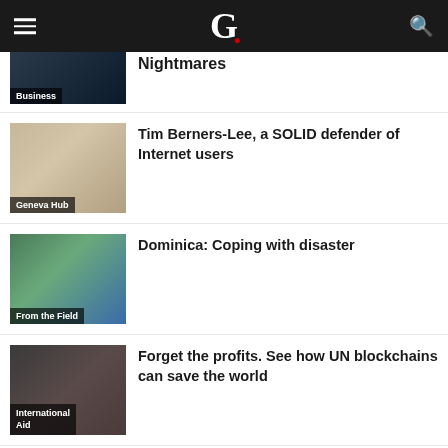G (logo with red dot)
[Figure (photo): Dark nighttime photo with Business category badge]
Nightmares
[Figure (photo): Photo of Tim Berners-Lee with Geneva Hub category badge]
Tim Berners-Lee, a SOLID defender of Internet users
[Figure (photo): Photo of Dominica coastal scene with From the Field category badge]
Dominica: Coping with disaster
[Figure (photo): Photo of group of people with International Aid category badge]
Forget the profits. See how UN blockchains can save the world
[Figure (photo): Photo of Prince Sadruddin Aga Khan with Diana Miserere text]
PRINCE SADRUDDIN AGA KHAN: Humanitarian & Visionary